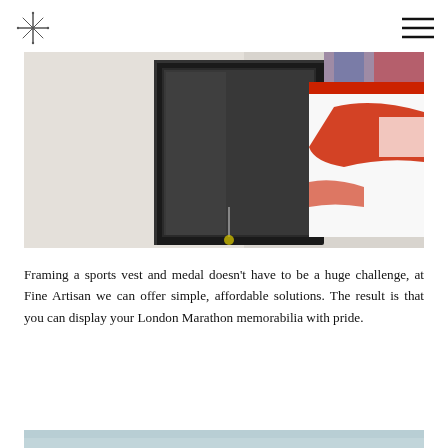Fine Artisan logo and navigation
[Figure (photo): Close-up photograph of a framed sports vest (white with red design, resembling a London Marathon bib/vest) mounted in a black shadow box frame against a white wall. The frame is angled slightly, showing depth. Colorful books or items are visible in the blurred background.]
Framing a sports vest and medal doesn't have to be a huge challenge, at Fine Artisan we can offer simple, affordable solutions. The result is that you can display your London Marathon memorabilia with pride.
[Figure (photo): Partial view of another image at the bottom of the page, light blue/grey tones.]